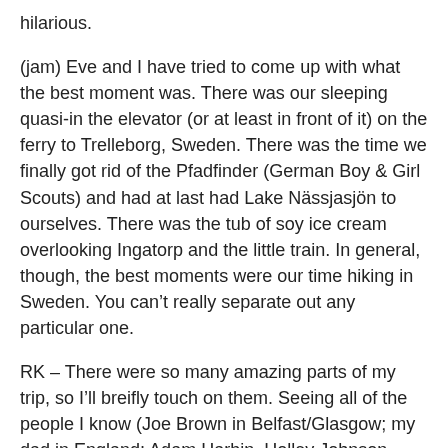hilarious.
(jam) Eve and I have tried to come up with what the best moment was. There was our sleeping quasi-in the elevator (or at least in front of it) on the ferry to Trelleborg, Sweden. There was the time we finally got rid of the Pfadfinder (German Boy & Girl Scouts) and had at last had Lake Nässjasjön to ourselves. There was the tub of soy ice cream overlooking Ingatorp and the little train. In general, though, the best moments were our time hiking in Sweden. You can't really separate out any particular one.
RK – There were so many amazing parts of my trip, so I'll breifly touch on them. Seeing all of the people I know (Joe Brown in Belfast/Glasgow; my dad in England; Adam Harbin, Holley Johnson, Mollye Yates, and Morgan Blankenship in Greece; Kit and John in Vienna; my family, unexpectedly, in Vienna; Josh Moore in Mannheim; Eric Hayden, Shane Timlin, Harris Moore, and Troy Reisner in London), Belgium vs Italy in Brussels, Florence, unexpectedly beautiful cities like Edinburgh and Budapest, 4th of July with Kit and John eating